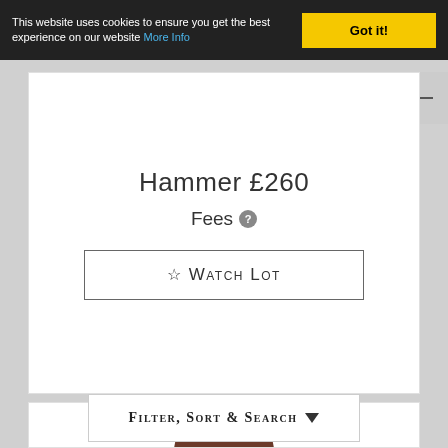This website uses cookies to ensure you get the best experience on our website More Info  Got it!
Hammer £260
Fees
☆ Watch Lot
[Figure (photo): Omega watch with brown leather strap and gold/champagne dial, shown from above against white background]
Filter, Sort & Search